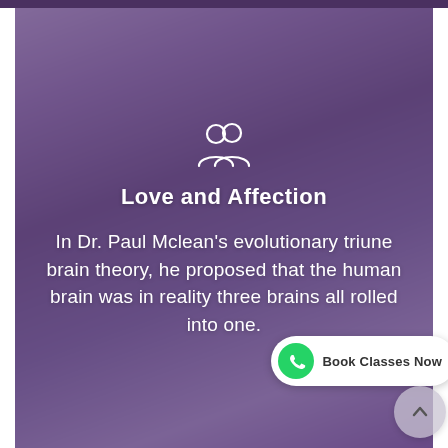[Figure (photo): Background photo of two people (couple) leaning close together, overlaid with a purple-tinted semi-transparent overlay. A white people/group icon is displayed centered over the photo.]
Love and Affection
In Dr. Paul Mclean's evolutionary triune brain theory, he proposed that the human brain was in reality three brains all rolled into one.